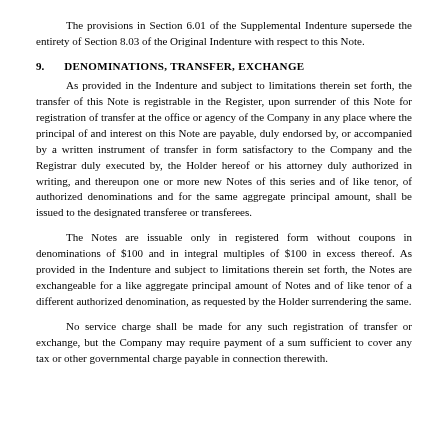The provisions in Section 6.01 of the Supplemental Indenture supersede the entirety of Section 8.03 of the Original Indenture with respect to this Note.
9. DENOMINATIONS, TRANSFER, EXCHANGE
As provided in the Indenture and subject to limitations therein set forth, the transfer of this Note is registrable in the Register, upon surrender of this Note for registration of transfer at the office or agency of the Company in any place where the principal of and interest on this Note are payable, duly endorsed by, or accompanied by a written instrument of transfer in form satisfactory to the Company and the Registrar duly executed by, the Holder hereof or his attorney duly authorized in writing, and thereupon one or more new Notes of this series and of like tenor, of authorized denominations and for the same aggregate principal amount, shall be issued to the designated transferee or transferees.
The Notes are issuable only in registered form without coupons in denominations of $100 and in integral multiples of $100 in excess thereof. As provided in the Indenture and subject to limitations therein set forth, the Notes are exchangeable for a like aggregate principal amount of Notes and of like tenor of a different authorized denomination, as requested by the Holder surrendering the same.
No service charge shall be made for any such registration of transfer or exchange, but the Company may require payment of a sum sufficient to cover any tax or other governmental charge payable in connection therewith.